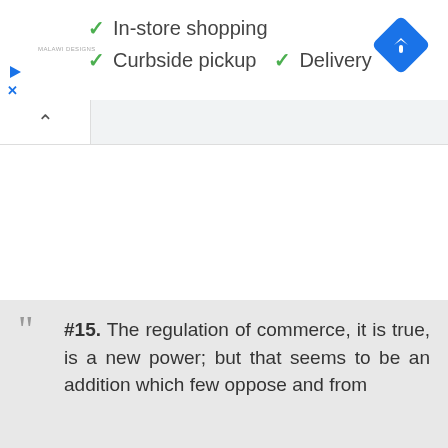[Figure (screenshot): Google Maps style info panel showing store options: checkmarks next to In-store shopping, Curbside pickup, and Delivery, with a blue diamond navigation icon on the right and a small logo on the left.]
✓ In-store shopping
✓ Curbside pickup  ✓ Delivery
#15. The regulation of commerce, it is true, is a new power; but that seems to be an addition which few oppose and from